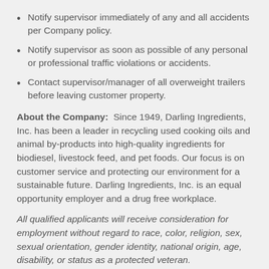Notify supervisor immediately of any and all accidents per Company policy.
Notify supervisor as soon as possible of any personal or professional traffic violations or accidents.
Contact supervisor/manager of all overweight trailers before leaving customer property.
About the Company: Since 1949, Darling Ingredients, Inc. has been a leader in recycling used cooking oils and animal by-products into high-quality ingredients for biodiesel, livestock feed, and pet foods. Our focus is on customer service and protecting our environment for a sustainable future. Darling Ingredients, Inc. is an equal opportunity employer and a drug free workplace.
All qualified applicants will receive consideration for employment without regard to race, color, religion, sex, sexual orientation, gender identity, national origin, age, disability, or status as a protected veteran.